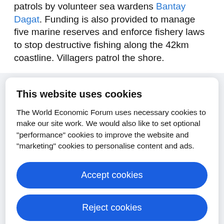patrols by volunteer sea wardens Bantay Dagat. Funding is also provided to manage five marine reserves and enforce fishery laws to stop destructive fishing along the 42km coastline. Villagers patrol the shore.
This website uses cookies
The World Economic Forum uses necessary cookies to make our site work. We would also like to set optional "performance" cookies to improve the website and "marketing" cookies to personalise content and ads.
Accept cookies
Reject cookies
Cookie settings